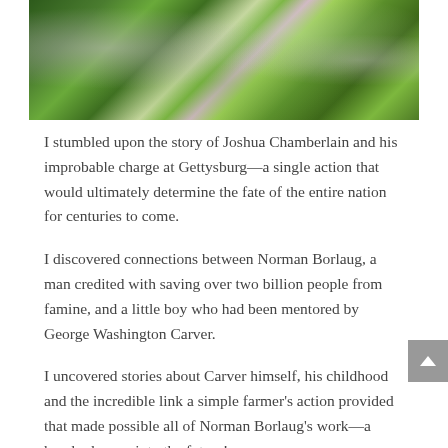[Figure (photo): Close-up photograph of green grass, wildflowers and small purple/pink blossoms with a soft blurred background]
I stumbled upon the story of Joshua Chamberlain and his improbable charge at Gettysburg—a single action that would ultimately determine the fate of the entire nation for centuries to come.
I discovered connections between Norman Borlaug, a man credited with saving over two billion people from famine, and a little boy who had been mentored by George Washington Carver.
I uncovered stories about Carver himself, his childhood and the incredible link a simple farmer's action provided that made possible all of Norman Borlaug's work—a hundred years into the future!
All this knowledge—this proof—affected me deeply. I